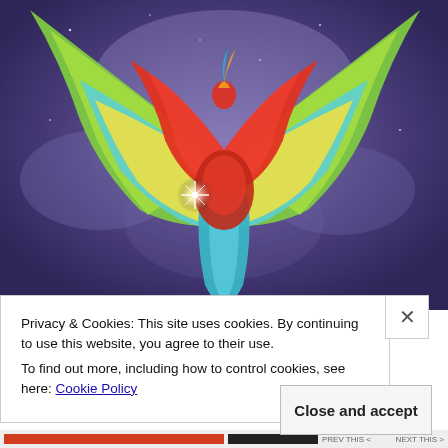[Figure (illustration): Colorful fantasy bird/phoenix illustration with large rainbow-colored wings spread wide, red feathered body, teal/blue lower body, against a purple starry cloud background. A bright sparkle/star burst is visible at the center.]
Privacy & Cookies: This site uses cookies. By continuing to use this website, you agree to their use.
To find out more, including how to control cookies, see here: Cookie Policy
Close and accept